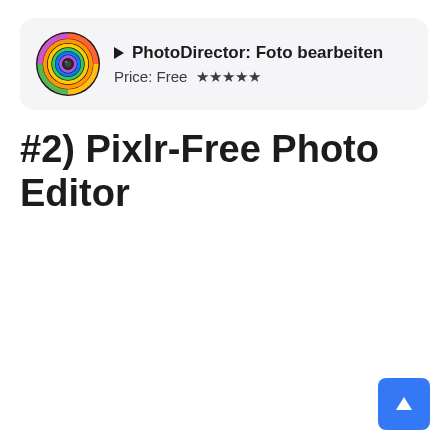[Figure (screenshot): App store listing card for PhotoDirector: Foto bearbeiten showing a colorful camera icon, app title with play arrow, Price: Free and five stars rating]
#2) Pixlr-Free Photo Editor